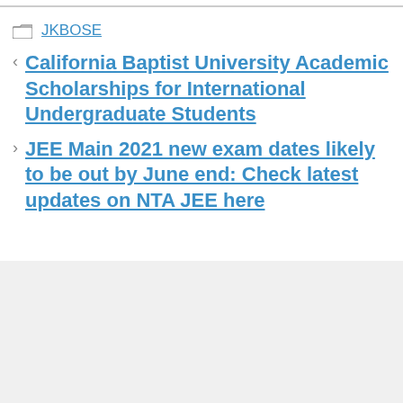JKBOSE
California Baptist University Academic Scholarships for International Undergraduate Students
JEE Main 2021 new exam dates likely to be out by June end: Check latest updates on NTA JEE here